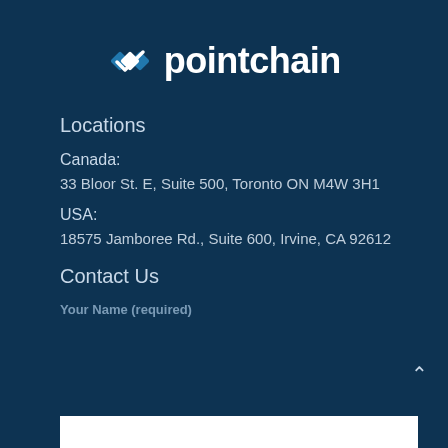[Figure (logo): Pointchain logo with diamond/chain icon and wordmark 'pointchain' in white]
Locations
Canada:
33 Bloor St. E, Suite 500, Toronto ON M4W 3H1
USA:
18575 Jamboree Rd., Suite 600, Irvine, CA 92612
Contact Us
Your Name (required)